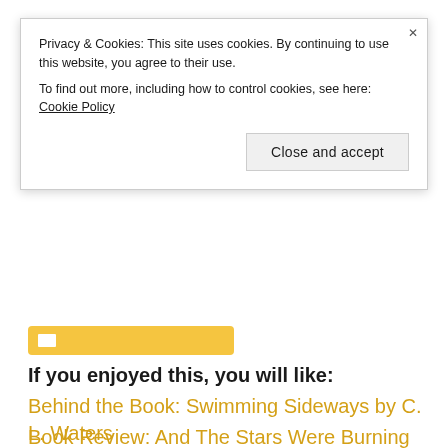Privacy & Cookies: This site uses cookies. By continuing to use this website, you agree to their use.
To find out more, including how to control cookies, see here: Cookie Policy
Close and accept
[Figure (other): Partially visible yellow button with white icon]
If you enjoyed this, you will like:
Behind the Book: Swimming Sideways by C. L. Waters
Book Review: And The Stars Were Burning Brightly
Behind the Book: Stuck on Vacation with Ryan